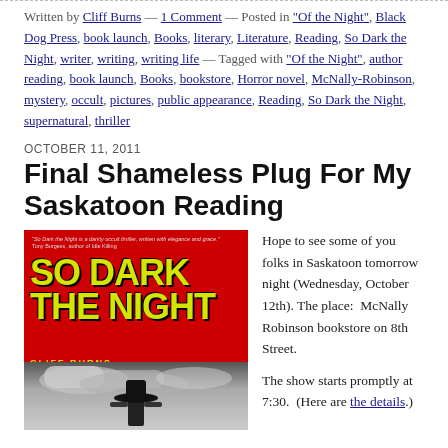Written by Cliff Burns — 1 Comment — Posted in "Of the Night", Black Dog Press, book launch, Books, literary, Literature, Reading, So Dark the Night, writer, writing, writing life — Tagged with "Of the Night", author reading, book launch, Books, bookstore, Horror novel, McNally-Robinson, mystery, occult, pictures, public appearance, Reading, So Dark the Night, supernatural, thriller
OCTOBER 11, 2011
Final Shameless Plug For My Saskatoon Reading
[Figure (photo): Book cover of 'So Dark the Night' by Cliff Burns — red background with yellow grunge lettering for the title, black and white scene at bottom showing a silhouetted figure with a hat and cloudy sky]
Hope to see some of you folks in Saskatoon tomorrow night (Wednesday, October 12th). The place: McNally Robinson bookstore on 8th Street.

The show starts promptly at 7:30. (Here are the details.)